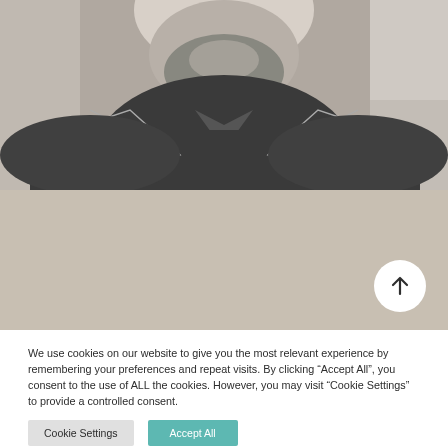[Figure (photo): Black and white photo of a bearded man in a dark collared shirt, cropped to show neck and upper torso, with a geometric diamond/chevron pattern overlay on the sweater]
We use cookies on our website to give you the most relevant experience by remembering your preferences and repeat visits. By clicking “Accept All”, you consent to the use of ALL the cookies. However, you may visit “Cookie Settings” to provide a controlled consent.